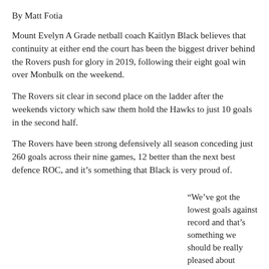By Matt Fotia
Mount Evelyn A Grade netball coach Kaitlyn Black believes that continuity at either end the court has been the biggest driver behind the Rovers push for glory in 2019, following their eight goal win over Monbulk on the weekend.
The Rovers sit clear in second place on the ladder after the weekends victory which saw them hold the Hawks to just 10 goals in the second half.
The Rovers have been strong defensively all season conceding just 260 goals across their nine games, 12 better than the next best defence ROC, and it’s something that Black is very proud of.
“We’ve got the lowest goals against record and that’s something we should be really pleased about considering the quality of the